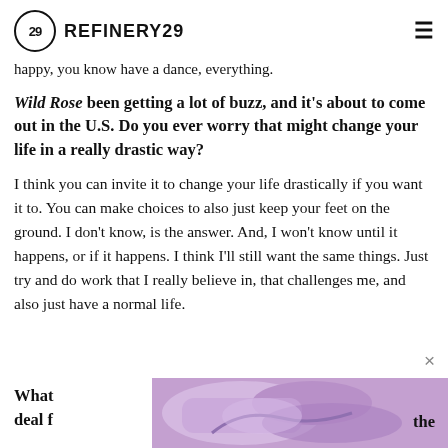REFINERY29
happy, you know have a dance, everything.
Wild Rose been getting a lot of buzz, and it's about to come out in the U.S. Do you ever worry that might change your life in a really drastic way?
I think you can invite it to change your life drastically if you want it to. You can make choices to also just keep your feet on the ground. I don't know, is the answer. And, I won't know until it happens, or if it happens. I think I'll still want the same things. Just try and do work that I really believe in, that challenges me, and also just have a normal life.
What ... the deal fo...
[Figure (photo): Person in purple/lilac bra crossing arms over chest, cropped torso shot]